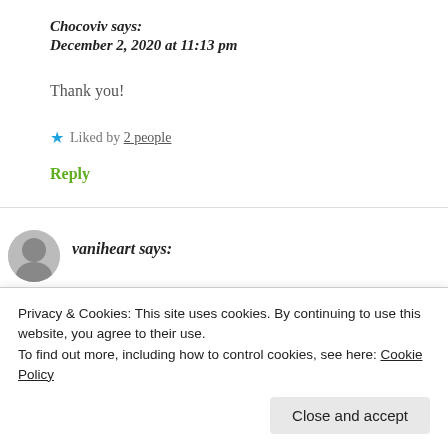Chocoviv says:
December 2, 2020 at 11:13 pm
Thank you!
★ Liked by 2 people
Reply
vaniheart says:
Privacy & Cookies: This site uses cookies. By continuing to use this website, you agree to their use.
To find out more, including how to control cookies, see here: Cookie Policy
Close and accept